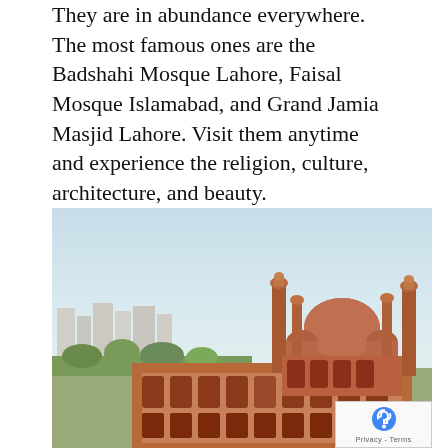They are in abundance everywhere. The most famous ones are the Badshahi Mosque Lahore, Faisal Mosque Islamabad, and Grand Jamia Masjid Lahore. Visit them anytime and experience the religion, culture, architecture, and beauty.
No, You necessarily need not to be Muslim to visit them. Enjoy!
[Figure (photo): Aerial view of a large mosque with a central dome surrounded by minarets and red-brick courtyard architecture, likely Grand Jamia Masjid Lahore, with a city skyline visible in the background under a pale blue sky.]